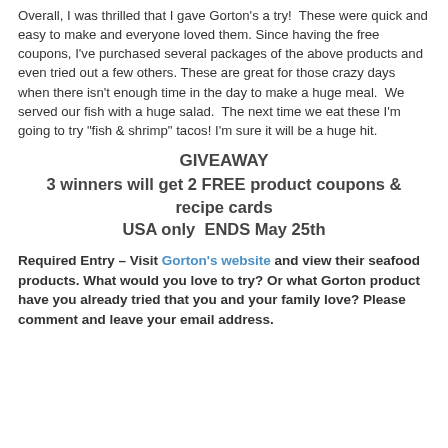Overall, I was thrilled that I gave Gorton's a try!  These were quick and easy to make and everyone loved them. Since having the free coupons, I've purchased several packages of the above products and even tried out a few others. These are great for those crazy days when there isn't enough time in the day to make a huge meal.  We served our fish with a huge salad.  The next time we eat these I'm going to try "fish & shrimp" tacos! I'm sure it will be a huge hit.
GIVEAWAY
3 winners will get 2 FREE product coupons & recipe cards
USA only  ENDS May 25th
Required Entry – Visit Gorton's website and view their seafood products. What would you love to try? Or what Gorton product have you already tried that you and your family love? Please comment and leave your email address.